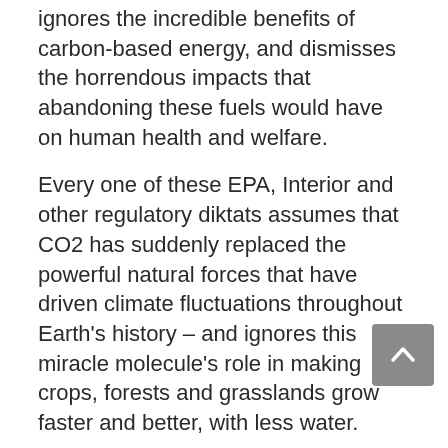ignores the incredible benefits of carbon-based energy, and dismisses the horrendous impacts that abandoning these fuels would have on human health and welfare.
Every one of these EPA, Interior and other regulatory diktats assumes that CO2 has suddenly replaced the powerful natural forces that have driven climate fluctuations throughout Earth's history – and ignores this miracle molecule's role in making crops, forests and grasslands grow faster and better, with less water.
As reviews are completed, agenda-driven rules and executive orders should be suspended, rescinded and defunded, so that they are no longer part of the $1.9 trillion